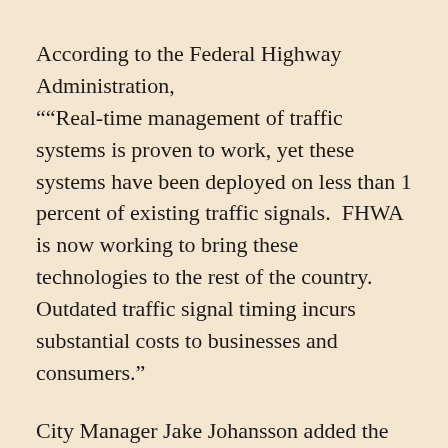According to the Federal Highway Administration, "“Real-time management of traffic systems is proven to work, yet these systems have been deployed on less than 1 percent of existing traffic signals. FHWA is now working to bring these technologies to the rest of the country. Outdated traffic signal timing incurs substantial costs to businesses and consumers.”
City Manager Jake Johansson added the adaptive system will be in place in the city in 2020, and in the meantime, Johansson urged residents to continue to drive with care.
“These systems are great because they can sense where the traffic is and adjust signals accordingly, but in the short-term, drivers need to watch the green